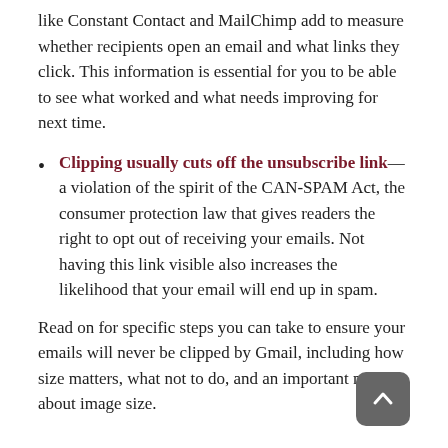like Constant Contact and MailChimp add to measure whether recipients open an email and what links they click. This information is essential for you to be able to see what worked and what needs improving for next time.
Clipping usually cuts off the unsubscribe link—a violation of the spirit of the CAN-SPAM Act, the consumer protection law that gives readers the right to opt out of receiving your emails. Not having this link visible also increases the likelihood that your email will end up in spam.
Read on for specific steps you can take to ensure your emails will never be clipped by Gmail, including how size matters, what not to do, and an important note about image size.